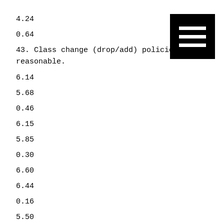4.24
0.64
43. Class change (drop/add) policies are reasonable.
6.14
5.68
0.46
6.15
5.85
0.30
6.60
6.44
0.16
5.50
6.22
[Figure (other): Hamburger menu icon — three white horizontal lines on a black square background]